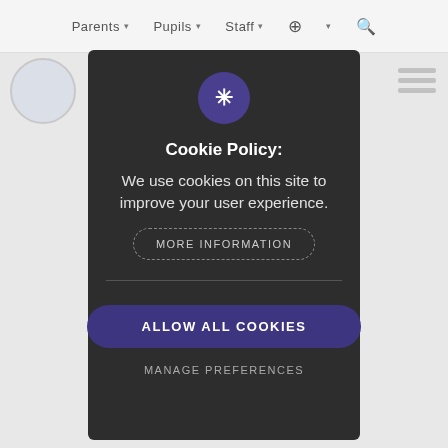Parents  Pupils  Staff  🌐
Cookie Policy:
We use cookies on this site to improve your user experience.
MORE INFORMATION
ALLOW ALL COOKIES
MANAGE PREFERENCES